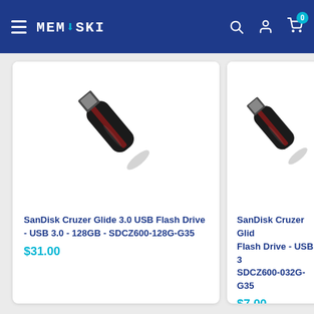MEMOSKI - Header navigation bar with hamburger menu, logo, search, account, and cart icons
[Figure (photo): SanDisk Cruzer Glide USB 3.0 flash drive, black with red accent, angled view with USB connector visible at top]
SanDisk Cruzer Glide 3.0 USB Flash Drive - USB 3.0 - 128GB - SDCZ600-128G-G35
$31.00
[Figure (photo): SanDisk Cruzer Glide USB 3.0 flash drive, black with red accent, partially visible on right side of page]
SanDisk Cruzer Glide USB Flash Drive - USB 3 - SDCZ600-032G-G35
$7.00